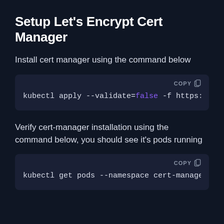Setup Let's Encrypt Cert Manager
Install cert manager using the command below
[Figure (screenshot): Code block showing: kubectl apply --validate=false -f https:/ with a COPY button]
Verify cert-manager installation using the command below, you should see it's pods running
[Figure (screenshot): Code block showing: kubectl get pods --namespace cert-manager with a COPY button]